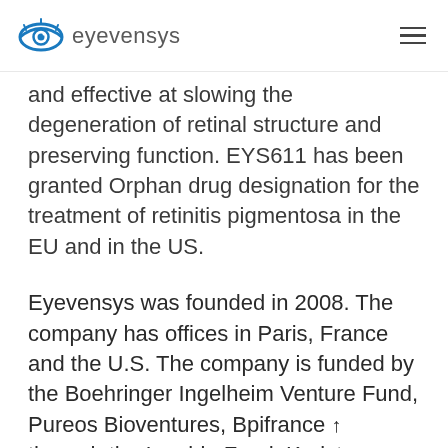eyevensys
and effective at slowing the degeneration of retinal structure and preserving function. EYS611 has been granted Orphan drug designation for the treatment of retinitis pigmentosa in the EU and in the US.
Eyevensys was founded in 2008. The company has offices in Paris, France and the U.S. The company is funded by the Boehringer Ingelheim Venture Fund, Pureos Bioventures, Bpifrance through the Innobio Fund, Karista,